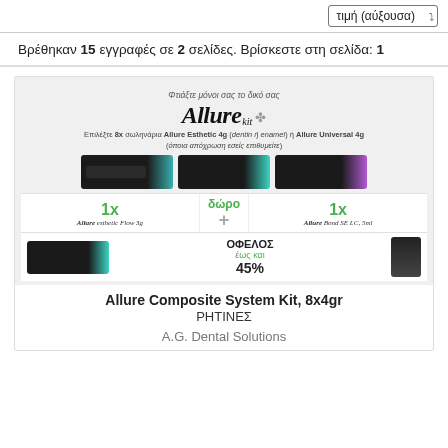τιμή (αύξουσα)
Βρέθηκαν 15 εγγραφές σε 2 σελίδες. Βρίσκεστε στη σελίδα: 1
[Figure (photo): Allure Composite System Kit promotional banner showing syringes and free gifts with up to 45% benefit]
Allure Composite System Kit, 8x4gr
ΡΗΤΙΝΕΣ
A.G. Dental Solutions